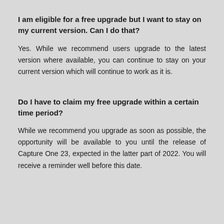I am eligible for a free upgrade but I want to stay on my current version. Can I do that?
Yes. While we recommend users upgrade to the latest version where available, you can continue to stay on your current version which will continue to work as it is.
Do I have to claim my free upgrade within a certain time period?
While we recommend you upgrade as soon as possible, the opportunity will be available to you until the release of Capture One 23, expected in the latter part of 2022. You will receive a reminder well before this date.